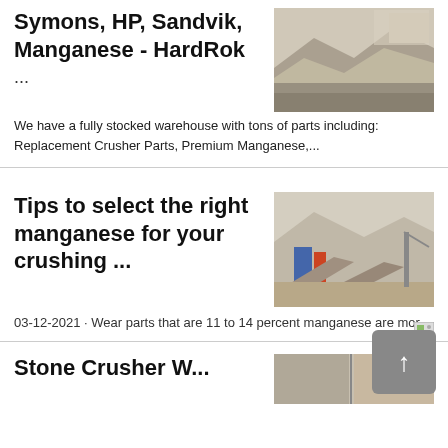Symons, HP, Sandvik, Manganese - HardRok ...
[Figure (photo): Aerial view of crushed stone/aggregate stockpiles at a mining or quarrying site]
We have a fully stocked warehouse with tons of parts including: Replacement Crusher Parts, Premium Manganese,...
Tips to select the right manganese for your crushing ...
[Figure (photo): Industrial crushing plant with machinery and equipment against a hazy mountain backdrop]
03-12-2021 · Wear parts that are 11 to 14 percent manganese are mor...
Stone Crusher W...
[Figure (photo): Stone crusher equipment photo thumbnail]